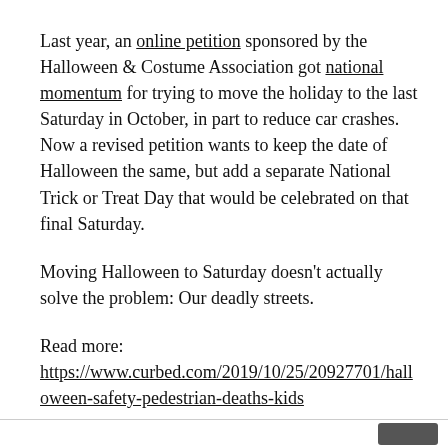Last year, an online petition sponsored by the Halloween & Costume Association got national momentum for trying to move the holiday to the last Saturday in October, in part to reduce car crashes. Now a revised petition wants to keep the date of Halloween the same, but add a separate National Trick or Treat Day that would be celebrated on that final Saturday.
Moving Halloween to Saturday doesn't actually solve the problem: Our deadly streets.
Read more: https://www.curbed.com/2019/10/25/20927701/halloween-safety-pedestrian-deaths-kids